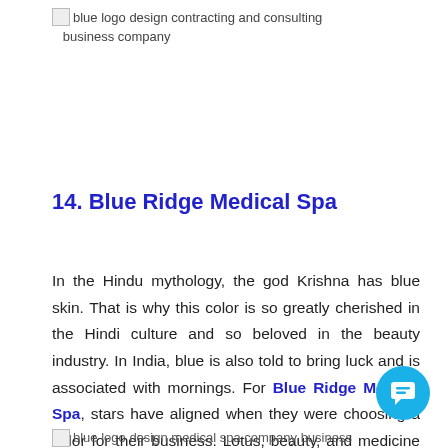[Figure (photo): Broken image placeholder with alt text: blue logo design contracting and consulting business company]
14. Blue Ridge Medical Spa
In the Hindu mythology, the god Krishna has blue skin. That is why this color is so greatly cherished in the Hindi culture and so beloved in the beauty industry. In India, blue is also told to bring luck and is associated with mornings. For Blue Ridge Medical Spa, stars have aligned when they were choosing a color for their business. Lotus, beauty, and medicine demand blue when gathered in one logo design.
[Figure (photo): Broken image placeholder with alt text: blue logo design medical spa company business]